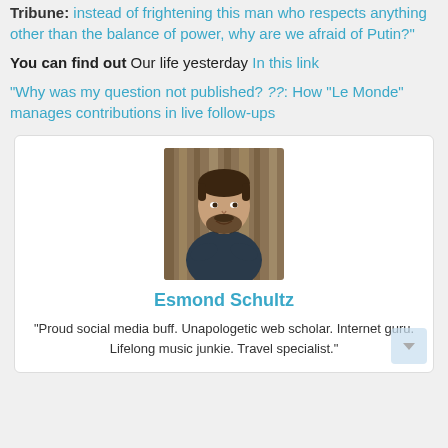Tribune: instead of frightening this man who respects anything other than the balance of power, why are we afraid of Putin?
You can find out Our life yesterday In this link
“Why was my question not published? ??: How “Le Monde” manages contributions in live follow-ups
[Figure (photo): Portrait photo of a young man with dark hair and beard, arms crossed, in front of a wooden background]
Esmond Schultz
“Proud social media buff. Unapologetic web scholar. Internet guru. Lifelong music junkie. Travel specialist.”